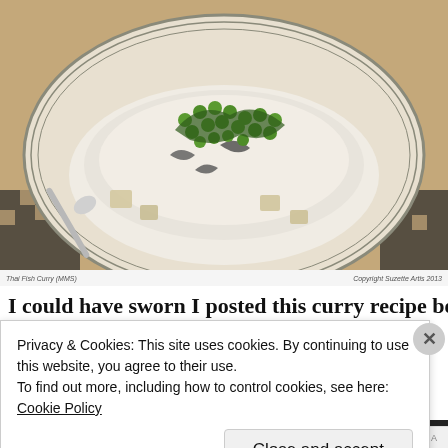[Figure (photo): A bowl of Thai fish curry with green peas, mushrooms, tofu chunks, and herbs served over white rice on a striped plate, placed on a checkered mat. A spoon is visible on the left side.]
Thai Fish Curry (MMS)    Copyright Suzette Artis 2013
I could have sworn I posted this curry recipe before. But as it
Privacy & Cookies: This site uses cookies. By continuing to use this website, you agree to their use.
To find out more, including how to control cookies, see here: Cookie Policy
Close and accept